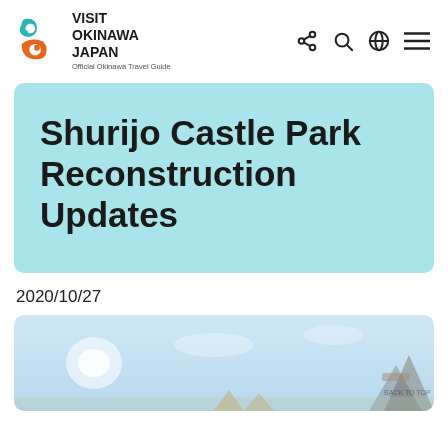VISIT OKINAWA JAPAN — Official Okinawa Travel Guide
Shurijo Castle Park Reconstruction Updates
2020/10/27
[Figure (photo): Outdoor scene at Shurijo Castle Park showing a light blue sky with partial view of castle structures and grounds]